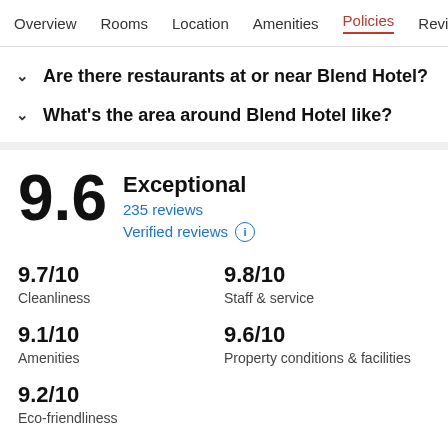Overview  Rooms  Location  Amenities  Policies  Reviews
Are there restaurants at or near Blend Hotel?
What's the area around Blend Hotel like?
9.6  Exceptional
235 reviews
Verified reviews
9.7/10 Cleanliness
9.8/10 Staff & service
9.1/10 Amenities
9.6/10 Property conditions & facilities
9.2/10 Eco-friendliness